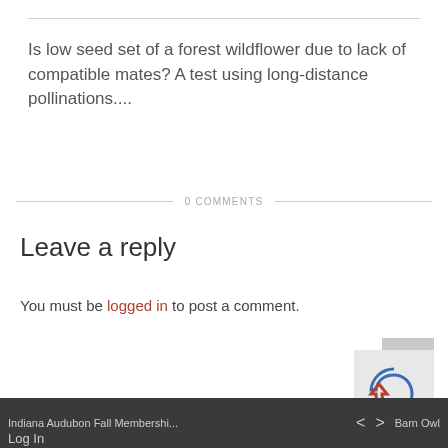Is low seed set of a forest wildflower due to lack of compatible mates? A test using long-distance pollinations....
0 COMMENTS
Leave a reply
You must be logged in to post a comment.
Indiana Audubon Fall Membershi... < > Barn Owl Log In